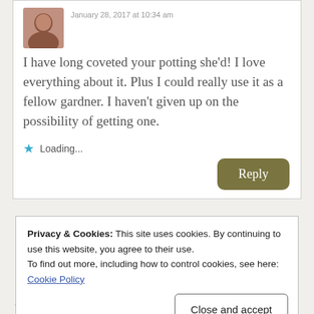January 28, 2017 at 10:34 am
I have long coveted your potting she'd! I love everything about it. Plus I could really use it as a fellow gardner. I haven't given up on the possibility of getting one.
Loading...
Reply
Privacy & Cookies: This site uses cookies. By continuing to use this website, you agree to their use.
To find out more, including how to control cookies, see here:
Cookie Policy
Close and accept